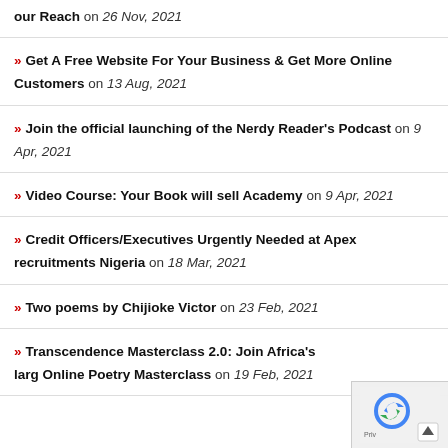» our Reach on 26 Nov, 2021
» Get A Free Website For Your Business & Get More Online Customers on 13 Aug, 2021
» Join the official launching of the Nerdy Reader's Podcast on 9 Apr, 2021
» Video Course: Your Book will sell Academy on 9 Apr, 2021
» Credit Officers/Executives Urgently Needed at Apex recruitments Nigeria on 18 Mar, 2021
» Two poems by Chijioke Victor on 23 Feb, 2021
» Transcendence Masterclass 2.0: Join Africa's larg Online Poetry Masterclass on 19 Feb, 2021